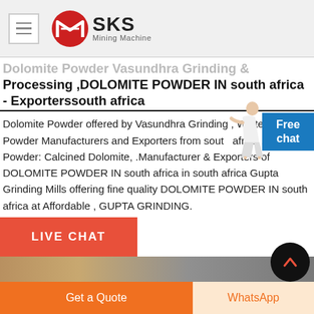SKS Mining Machine
Dolomite Powder Vasundhra Grinding & Processing ,DOLOMITE POWDER IN south africa - Exporterssouth africa
Dolomite Powder offered by Vasundhra Grinding , White Dolomite Powder Manufacturers and Exporters from south africa , Dolomite Powder: Calcined Dolomite, .Manufacturer & Exporters of DOLOMITE POWDER IN south africa in south africa Gupta Grinding Mills offering fine quality DOLOMITE POWDER IN south africa at Affordable , GUPTA GRINDING.
LIVE CHAT
Get a Quote
WhatsApp